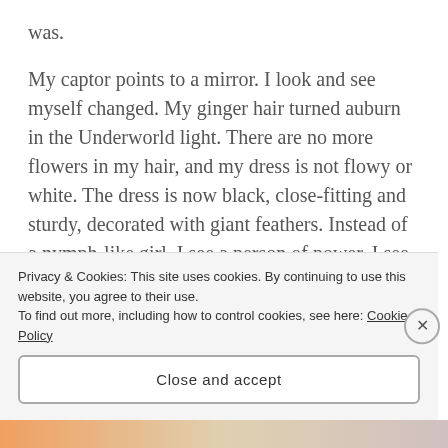was.
My captor points to a mirror. I look and see myself changed. My ginger hair turned auburn in the Underworld light. There are no more flowers in my hair, and my dress is not flowy or white. The dress is now black, close-fitting and sturdy, decorated with giant feathers. Instead of a nymph-like girl, I see a person of power. I see somebody who should be respected, even feared.
For the first time I see in my reflection that I truly
Privacy & Cookies: This site uses cookies. By continuing to use this website, you agree to their use.
To find out more, including how to control cookies, see here: Cookie Policy
Close and accept